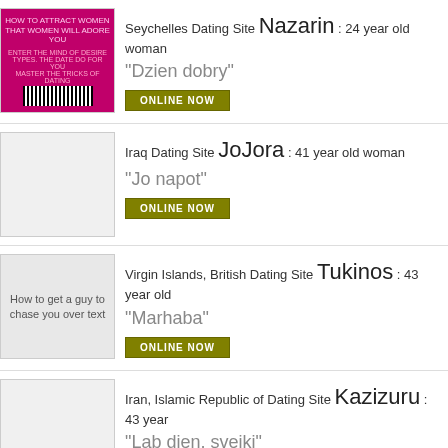[Figure (photo): Pink book cover thumbnail with barcode at bottom]
Seychelles Dating Site Nazarin : 24 year old woman
"Dzien dobry"
ONLINE NOW
[Figure (photo): Empty gray placeholder thumbnail]
Iraq Dating Site JoJora : 41 year old woman
"Jo napot"
ONLINE NOW
[Figure (photo): Image with alt text: How to get a guy to chase you over text]
Virgin Islands, British Dating Site Tukinos : 43 year old
"Marhaba"
ONLINE NOW
[Figure (photo): Empty gray placeholder thumbnail]
Iran, Islamic Republic of Dating Site Kazizuru : 43 year
"Lab dien, sveiki"